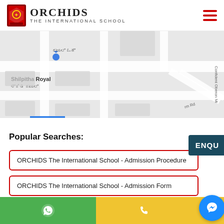[Figure (logo): Orchids The International School logo with crest icon, bold ORCHIDS text, and 'The International School' tagline]
[Figure (map): Google Maps partial view showing streets with Kannada script labels including Shilpitha Royal, and roads including 'rm Rd' and 'Confident Oberon Mi' on the right edge]
Popular Searches:
ORCHIDS The International School - Admission Procedure
ORCHIDS The International School - Admission Form